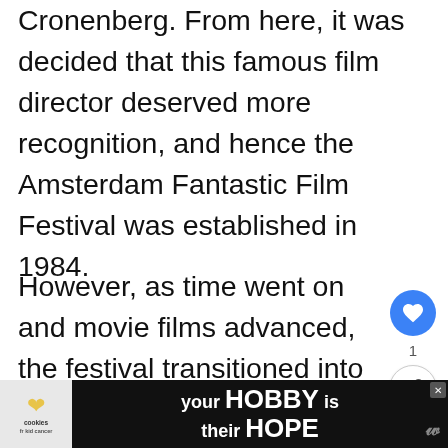Cronenberg. From here, it was decided that this famous film director deserved more recognition, and hence the Amsterdam Fantastic Film Festival was established in 1984.
However, as time went on and movie films advanced, the festival transitioned into what we know it as today – the Imagine Film Festival. Now, the films played during the event don't follow a speci– but usually offer a combination of
[Figure (other): Social interaction sidebar with heart/like button (blue circle with heart icon), count of 1, and share button (circle with share icon)]
[Figure (other): What's Next widget showing a landscape thumbnail image with text 'WHAT'S NEXT → The Best Time to Visit...']
[Figure (other): Advertisement banner with cookies for kid cancer logo, text 'your HOBBY is their HOPE' on dark background, and close button]